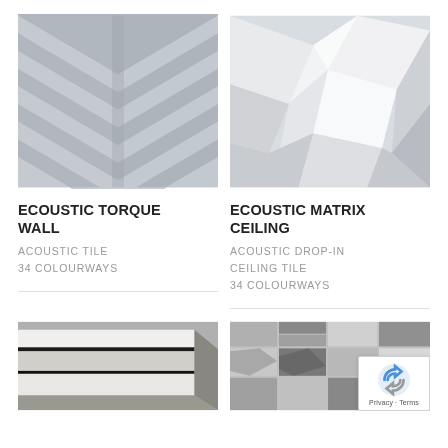[Figure (photo): Close-up photo of Ecoustic Torque Wall acoustic tile showing chevron/herringbone pattern in grey tones]
ECOUSTIC TORQUE WALL
ACOUSTIC TILE
34 COLOURWAYS
[Figure (photo): Close-up photo of Ecoustic Matrix Ceiling acoustic drop-in tile showing geometric faceted 3D pattern in white and light grey]
ECOUSTIC MATRIX CEILING
ACOUSTIC DROP-IN CEILING TILE
34 COLOURWAYS
[Figure (photo): Photo showing layered acoustic tile materials stacked, with white, grey and black layers visible on edges]
[Figure (photo): Photo of acoustic tile with geometric pattern in various grey shades (partially obscured by reCAPTCHA badge)]